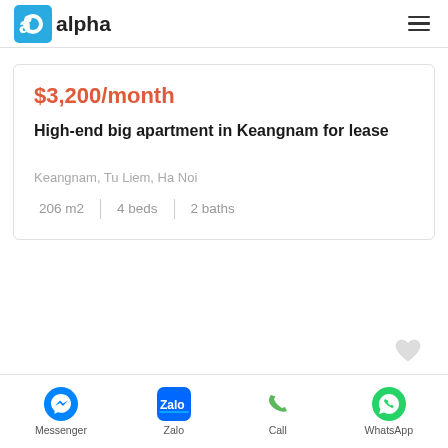[Figure (logo): Alpha real estate logo with blue square icon and 'alpha' text]
$3,200/month
High-end big apartment in Keangnam for lease
Keangnam, Tu Liem, Ha Noi
206 m2    4 beds    2 baths
Messenger  Zalo  Call  WhatsApp